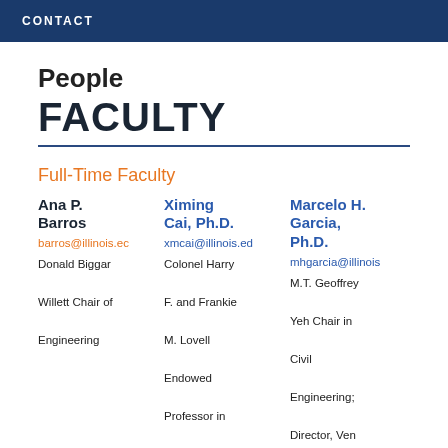CONTACT
People
FACULTY
Full-Time Faculty
Ana P. Barros
barros@illinois.ec
Donald Biggar Willett Chair of Engineering
Ximing Cai, Ph.D.
xmcai@illinois.ed
Colonel Harry F. and Frankie M. Lovell Endowed Professor in Civil
Marcelo H. Garcia, Ph.D.
mhgarcia@illinois
M.T. Geoffrey Yeh Chair in Civil Engineering; Director, Ven